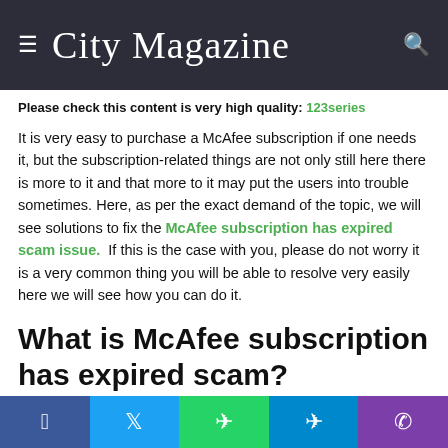City Magazine
Please check this content is very high quality: 123series
It is very easy to purchase a McAfee subscription if one needs it, but the subscription-related things are not only still here there is more to it and that more to it may put the users into trouble sometimes. Here, as per the exact demand of the topic, we will see solutions to fix the McAfee subscription has expired scam issue. If this is the case with you, please do not worry it is a very common thing you will be able to resolve very easily here we will see how you can do it.
What is McAfee subscription has expired scam?
Facebook Twitter WhatsApp Telegram Phone